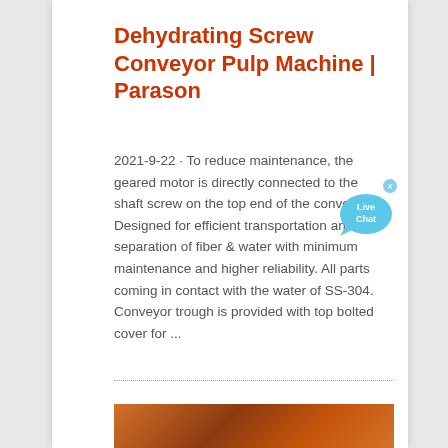Dehydrating Screw Conveyor Pulp Machine | Parason
2021-9-22 · To reduce maintenance, the geared motor is directly connected to the shaft screw on the top end of the conveyor. Designed for efficient transportation and separation of fiber & water with minimum maintenance and higher reliability. All parts coming in contact with the water of SS-304. Conveyor trough is provided with top bolted cover for ...
[Figure (illustration): Live Chat speech bubble widget — cyan/light blue rounded chat bubble with 'Live Chat' text and a close (×) button in the upper right corner]
[Figure (photo): Partial bottom strip showing what appears to be industrial machinery or equipment in orange/brown tones]